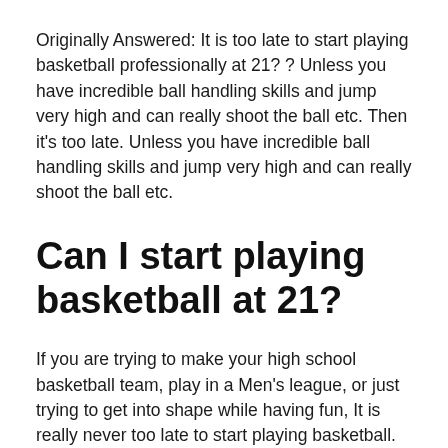Originally Answered: It is too late to start playing basketball professionally at 21? ? Unless you have incredible ball handling skills and jump very high and can really shoot the ball etc. Then it's too late. Unless you have incredible ball handling skills and jump very high and can really shoot the ball etc.
Can I start playing basketball at 21?
If you are trying to make your high school basketball team, play in a Men's league, or just trying to get into shape while having fun, It is really never too late to start playing basketball. ... This question always comes up